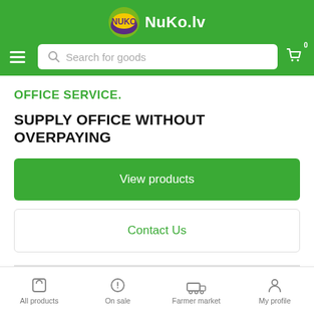NuKo.lv
OFFICE SERVICE.
SUPPLY OFFICE WITHOUT OVERPAYING
View products
Contact Us
Menu
All products | On sale | Farmer market | My profile